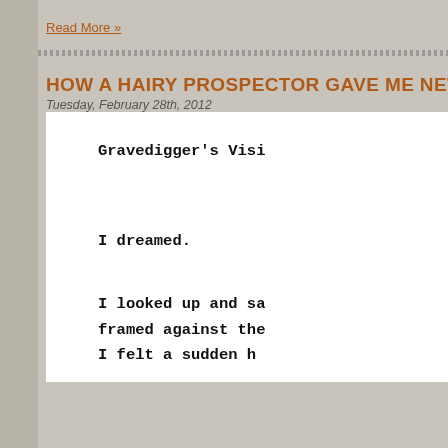Read More »
HOW A HAIRY PROSPECTOR GAVE ME NEW A…
Tuesday, February 28th, 2012
Gravedigger's Visi…
I dreamed.
I looked up and sa… framed against the… I felt a sudden h…